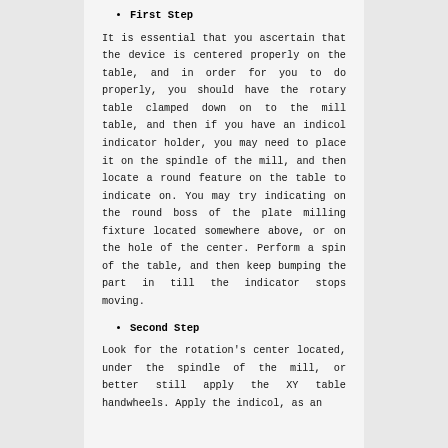First Step
It is essential that you ascertain that the device is centered properly on the table, and in order for you to do properly, you should have the rotary table clamped down on to the mill table, and then if you have an indicol indicator holder, you may need to place it on the spindle of the mill, and then locate a round feature on the table to indicate on. You may try indicating on the round boss of the plate milling fixture located somewhere above, or on the hole of the center. Perform a spin of the table, and then keep bumping the part in till the indicator stops moving.
Second Step
Look for the rotation's center located, under the spindle of the mill, or better still apply the XY table handwheels. Apply the indicol, as an